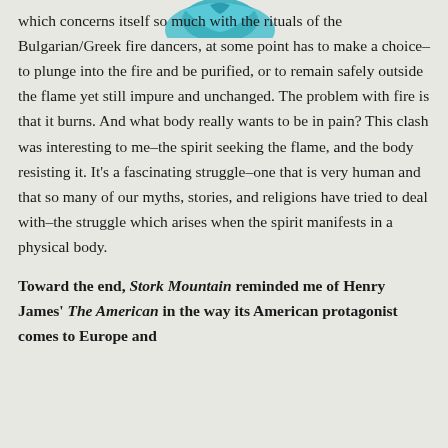[Figure (illustration): Partial illustration at top of page — teal/blue decorative image, cropped]
which concerns itself so much with the rituals of the Bulgarian/Greek fire dancers, at some point has to make a choice–to plunge into the fire and be purified, or to remain safely outside the flame yet still impure and unchanged. The problem with fire is that it burns. And what body really wants to be in pain? This clash was interesting to me–the spirit seeking the flame, and the body resisting it. It's a fascinating struggle–one that is very human and that so many of our myths, stories, and religions have tried to deal with–the struggle which arises when the spirit manifests in a physical body.
Toward the end, Stork Mountain reminded me of Henry James' The American in the way its American protagonist comes to Europe and